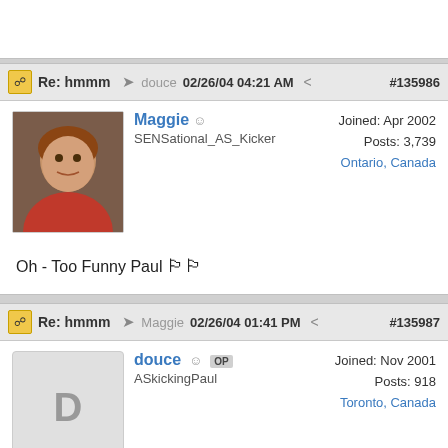Re: hmmm  douce  02/26/04 04:21 AM  #135986
Maggie
SENSational_AS_Kicker
Joined: Apr 2002
Posts: 3,739
Ontario, Canada
Oh - Too Funny Paul [emoji flags]
Re: hmmm  Maggie  02/26/04 01:41 PM  #135987
douce OP
ASkickingPaul
Joined: Nov 2001
Posts: 918
Toronto, Canada
Maggie,

When this post was started (Nov 23)....your Sens were playing lousy...and sinking fast!
What a turnaround - do they ever lose anymore??